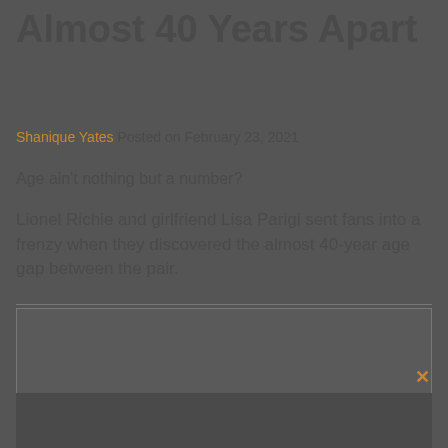Almost 40 Years Apart
Shanique Yates Posted on February 23, 2021
Age ain't nothing but a number?
Lionel Richie and girlfriend Lisa Parigi sent fans into a frenzy when they discovered the almost 40-year age gap between the pair.
[Figure (other): Advertisement box with close button (x)]
[Figure (photo): Photo area at bottom of page, dark background]